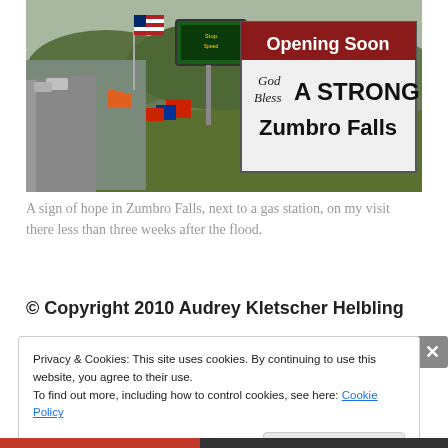[Figure (photo): Outdoor photo showing a roadside scene in Zumbro Falls. A large white sign prominently reads 'Opening Soon' in red/white and 'God Bless A STRONG Zumbro Falls' in black text. An American flag is visible on the left, along with trees, a green electronic sign, and campaign signs along a road with passing cars.]
A sign of hope in Zumbro Falls, next to a gas station, on my visit there less than three weeks after the flood.
© Copyright 2010 Audrey Kletscher Helbling
Privacy & Cookies: This site uses cookies. By continuing to use this website, you agree to their use.
To find out more, including how to control cookies, see here: Cookie Policy